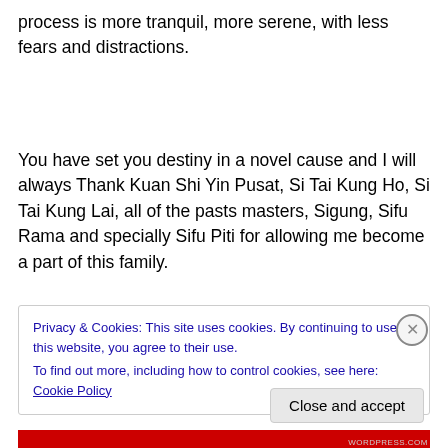process is more tranquil, more serene, with less fears and distractions.
You have set you destiny in a novel cause and I will always Thank Kuan Shi Yin Pusat, Si Tai Kung Ho, Si Tai Kung Lai, all of the pasts masters, Sigung, Sifu Rama and specially Sifu Piti for allowing me become a part of this family.
Privacy & Cookies: This site uses cookies. By continuing to use this website, you agree to their use.
To find out more, including how to control cookies, see here: Cookie Policy
Close and accept